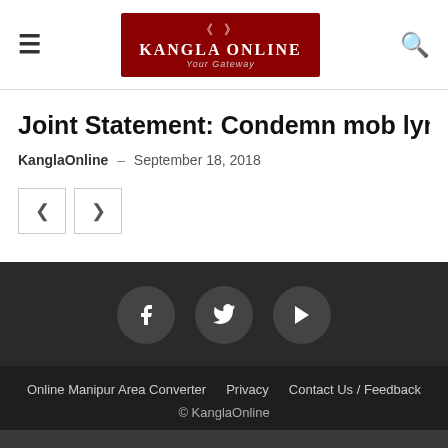Kangla Online – Your Gateway
Joint Statement: Condemn mob lynching in Manipur – Ju
KanglaOnline – September 18, 2018
Online Manipur Area Converter   Privacy   Contact Us / Feedback   © KanglaOnline
Go to mobile version